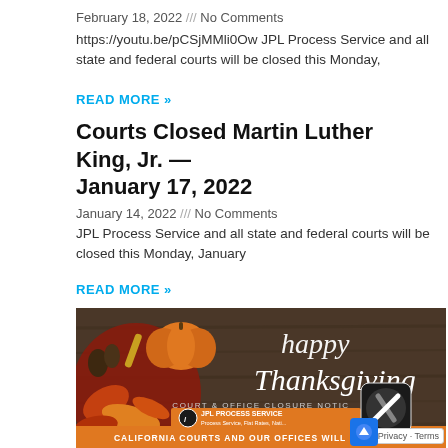February 18, 2022 /// No Comments
https://youtu.be/pCSjMMli0Ow JPL Process Service and all state and federal courts will be closed this Monday,
READ MORE »
Courts Closed Martin Luther King, Jr. — January 17, 2022
January 14, 2022 /// No Comments
JPL Process Service and all state and federal courts will be closed this Monday, January
READ MORE »
[Figure (photo): Thanksgiving court and office closure notice image from JPL Process Service showing pumpkins, autumn leaves, and text 'happy Thanksgiving COURT & OFFICE CLOSURE NOTICE' with JPL Process Service branding and 'CALIFORNIA COURTS AND OUR OFFICES WILL BE CLOSED' banner at bottom]